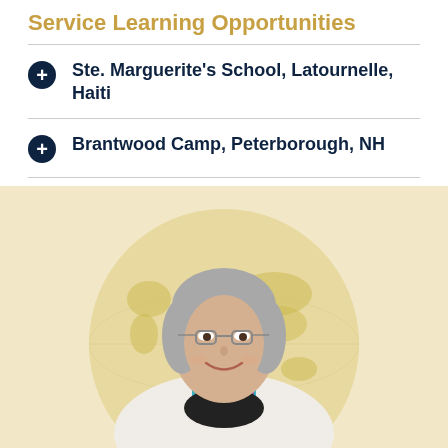Service Learning Opportunities
Ste. Marguerite's School, Latournelle, Haiti
Brantwood Camp, Peterborough, NH
[Figure (photo): Woman with gray hair, glasses, and a colorful scarf smiling in front of a world map globe background on a beige/yellow backdrop.]